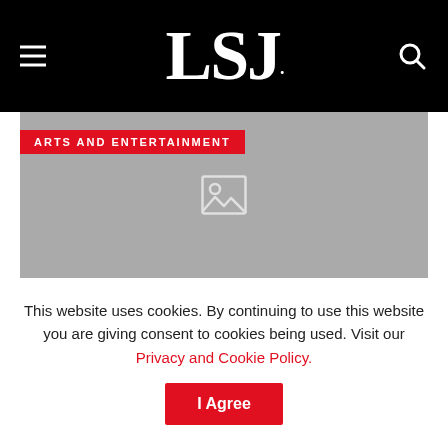LSJ.
[Figure (photo): Gray placeholder image area with a missing-image icon in the center and an 'ARTS AND ENTERTAINMENT' red badge at the top left]
ARTS AND ENTERTAINMENT
This website uses cookies. By continuing to use this website you are giving consent to cookies being used. Visit our Privacy and Cookie Policy.
I Agree